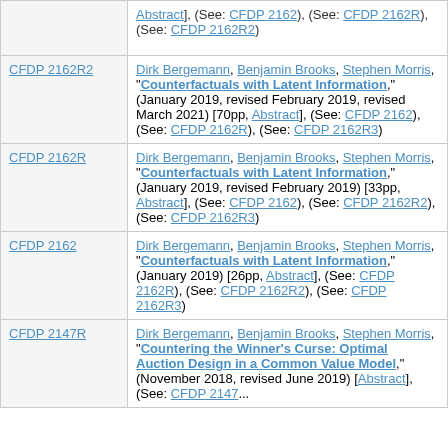(partial top row) Abstract], (See: CFDP 2162), (See: CFDP 2162R), (See: CFDP 2162R2)
CFDP 2162R2 — Dirk Bergemann, Benjamin Brooks, Stephen Morris, "Counterfactuals with Latent Information," (January 2019, revised February 2019, revised March 2021) [70pp, Abstract], (See: CFDP 2162), (See: CFDP 2162R), (See: CFDP 2162R3)
CFDP 2162R — Dirk Bergemann, Benjamin Brooks, Stephen Morris, "Counterfactuals with Latent Information," (January 2019, revised February 2019) [33pp, Abstract], (See: CFDP 2162), (See: CFDP 2162R2), (See: CFDP 2162R3)
CFDP 2162 — Dirk Bergemann, Benjamin Brooks, Stephen Morris, "Counterfactuals with Latent Information," (January 2019) [26pp, Abstract], (See: CFDP 2162R), (See: CFDP 2162R2), (See: CFDP 2162R3)
CFDP 2147R — Dirk Bergemann, Benjamin Brooks, Stephen Morris, "Countering the Winner's Curse: Optimal Auction Design in a Common Value Model," (November 2018, revised June 2019) [40pp, Abstract], (See: CFDP 2147...)